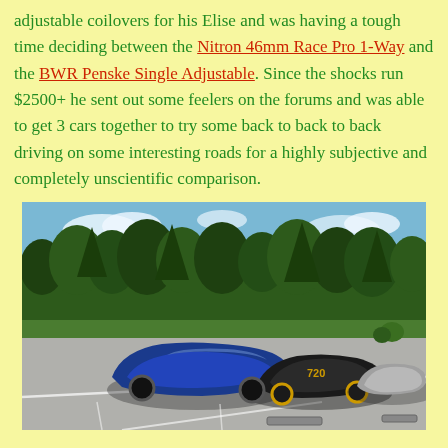adjustable coilovers for his Elise and was having a tough time deciding between the Nitron 46mm Race Pro 1-Way and the BWR Penske Single Adjustable. Since the shocks run $2500+ he sent out some feelers on the forums and was able to get 3 cars together to try some back to back to back driving on some interesting roads for a highly subjective and completely unscientific comparison.
[Figure (photo): Three Lotus Elise/Exige sports cars parked in a parking lot with trees in the background. A blue Elise is in the foreground left, a black Exige with number 720 is in the center, and a silver/grey car is on the right.]